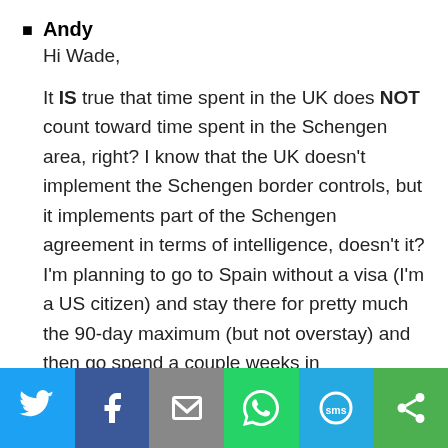Andy
Hi Wade,
It IS true that time spent in the UK does NOT count toward time spent in the Schengen area, right? I know that the UK doesn't implement the Schengen border controls, but it implements part of the Schengen agreement in terms of intelligence, doesn't it? I'm planning to go to Spain without a visa (I'm a US citizen) and stay there for pretty much the 90-day maximum (but not overstay) and then go spend a couple weeks in
Social share bar: Twitter, Facebook, Email, WhatsApp, SMS, More